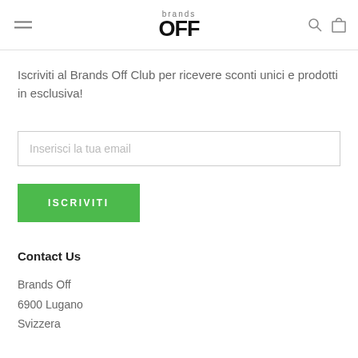brands OFF
Iscriviti al Brands Off Club per ricevere sconti unici e prodotti in esclusiva!
Inserisci la tua email
ISCRIVITI
Contact Us
Brands Off
6900 Lugano
Svizzera